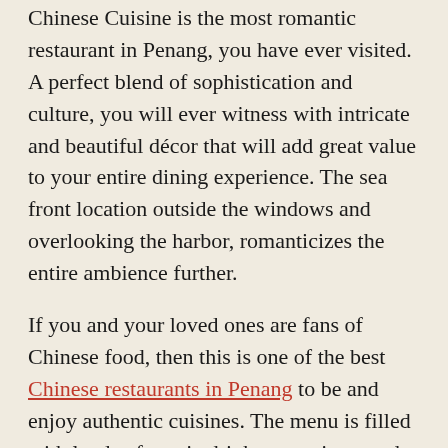Chinese Cuisine is the most romantic restaurant in Penang, you have ever visited. A perfect blend of sophistication and culture, you will ever witness with intricate and beautiful décor that will add great value to your entire dining experience. The sea front location outside the windows and overlooking the harbor, romanticizes the entire ambience further.
If you and your loved ones are fans of Chinese food, then this is one of the best Chinese restaurants in Penang to be and enjoy authentic cuisines. The menu is filled with loads of exotic drinks, appetizers and main course, ranging from seafood to ducks and Chinese vegetarian dishes. Don't forget to miss out its delectable desserts in the end. You can visit them between 6:00pm to 10:45pm.
Address: Tanjung City Marina, Pier, 8A, Pangkalan Weld, 10300, Church St, George Town, Malaysia Phone: +60 4-261-3611